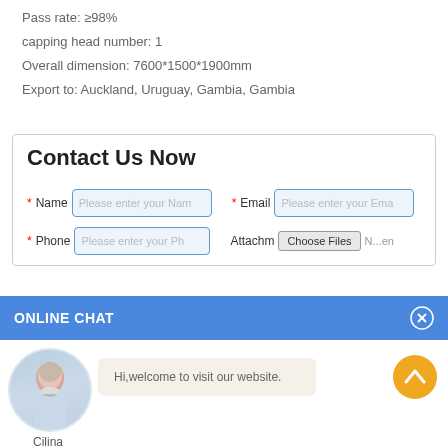Pass rate: ≥98%
capping head number: 1
Overall dimension: 7600*1500*1900mm
Export to: Auckland, Uruguay, Gambia, Gambia
Contact Us Now
* Name [Please enter your Nam]  * Email [Please enter your Ema]  * Phone [Please enter your Ph]  Attachment [Choose Files] N...en
ONLINE CHAT
Hi,welcome to visit our website.
Cilina